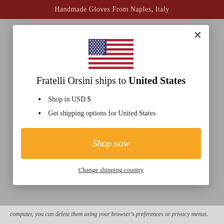Handmade Gloves From Naples, Italy
[Figure (illustration): US flag icon]
Fratelli Orsini ships to United States
Shop in USD $
Get shipping options for United States
Shop now
Change shipping country
computer, you can delete them using your browser's preferences or privacy menus.